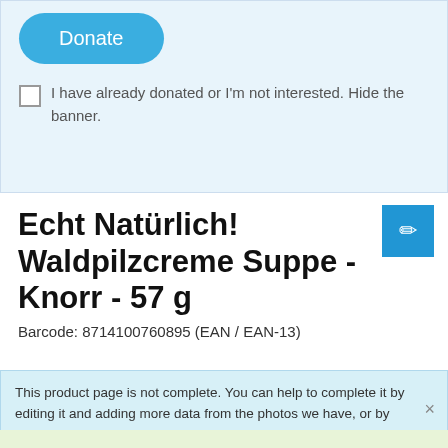[Figure (screenshot): Donate button (rounded blue button with white text 'Donate')]
I have already donated or I'm not interested. Hide the banner.
Echt Natürlich! Waldpilzcreme Suppe - Knorr - 57 g
Barcode: 8714100760895 (EAN / EAN-13)
This product page is not complete. You can help to complete it by editing it and adding more data from the photos we have, or by taking more photos using the app for Android or iPhone/iPad. Thank you!